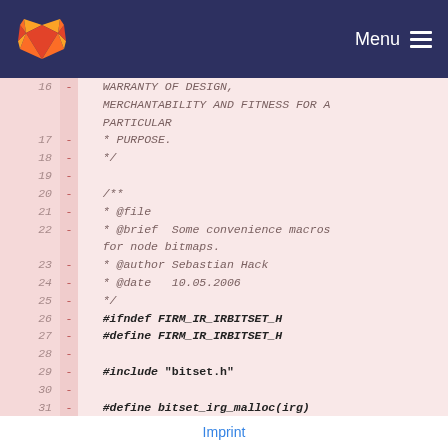GitLab Menu
[Figure (screenshot): Code diff view showing lines 16-31 of a C header file with removed lines marked with '-', featuring comments and preprocessor directives. Lines show copyright disclaimer, file docblock, and #ifndef/#define/#include guards.]
Imprint